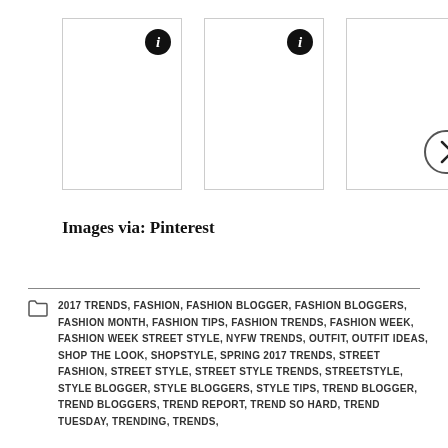[Figure (photo): Three white/blank image boxes in a row, the first two with info icons in the top-right, the third with a right-arrow navigation circle on its right side]
Images via: Pinterest
2017 TRENDS, FASHION, FASHION BLOGGER, FASHION BLOGGERS, FASHION MONTH, FASHION TIPS, FASHION TRENDS, FASHION WEEK, FASHION WEEK STREET STYLE, NYFW TRENDS, OUTFIT, OUTFIT IDEAS, SHOP THE LOOK, SHOPSTYLE, SPRING 2017 TRENDS, STREET FASHION, STREET STYLE, STREET STYLE TRENDS, STREETSTYLE, STYLE BLOGGER, STYLE BLOGGERS, STYLE TIPS, TREND BLOGGER, TREND BLOGGERS, TREND REPORT, TREND SO HARD, TREND TUESDAY, TRENDING, TRENDS,